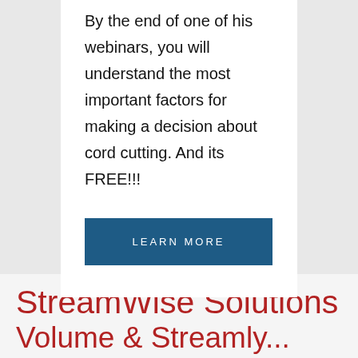By the end of one of his webinars, you will understand the most important factors for making a decision about cord cutting. And its FREE!!!
LEARN MORE
StreamWise Solutions
Volume & Streamly...